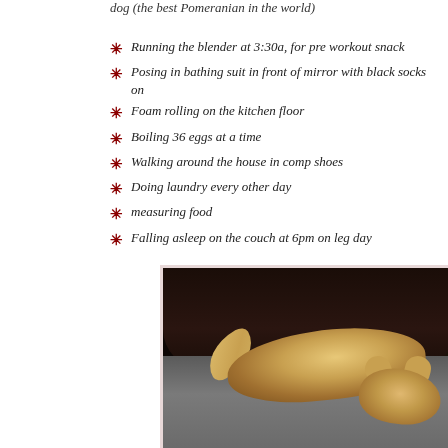dog (the best Pomeranian in the world)
Running the blender at 3:30a, for pre workout snack
Posing in bathing suit in front of mirror with black socks on
Foam rolling on the kitchen floor
Boiling 36 eggs at a time
Walking around the house in comp shoes
Doing laundry every other day
measuring food
Falling asleep on the couch at 6pm on leg day
[Figure (photo): A Pomeranian dog sleeping on a couch, photographed in a dark room. The dog has golden/cream colored fur and is lying with its head down on what appears to be a gray couch cushion. Dark background with what appears to be a window and dark furniture visible.]